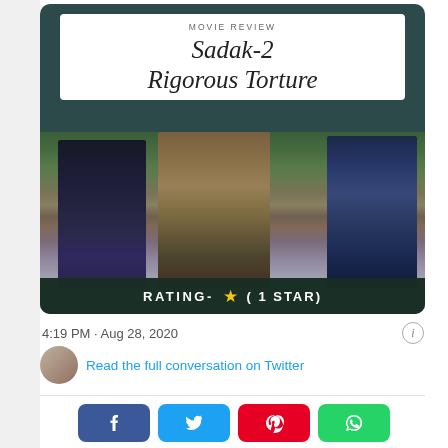[Figure (screenshot): Movie review card for Sadak-2 showing three actors walking, with white header box reading 'MOVIE REVIEW / Sadak-2 Rigorous Torture' and a dark rating bar at the bottom showing 'RATING- ★ (1 STAR)']
4:19 PM · Aug 28, 2020
Read the full conversation on Twitter
[Figure (infographic): Social media share buttons: Facebook (blue), Twitter (cyan), Pinterest (red), WhatsApp (green)]